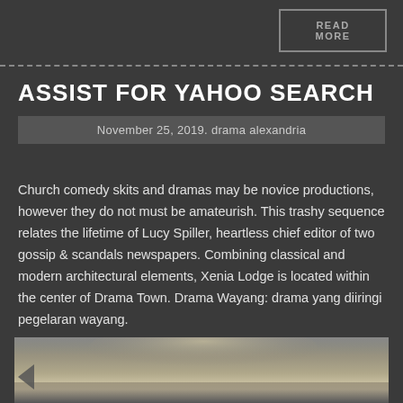READ MORE
ASSIST FOR YAHOO SEARCH
November 25, 2019. drama alexandria
Church comedy skits and dramas may be novice productions, however they do not must be amateurish. This trashy sequence relates the lifetime of Lucy Spiller, heartless chief editor of two gossip & scandals newspapers. Combining classical and modern architectural elements, Xenia Lodge is located within the center of Drama Town. Drama Wayang: drama yang diiringi pegelaran wayang.
[Figure (photo): A blurred close-up photo of a person wearing a khaki/olive colored garment, with blond hair visible at top.]